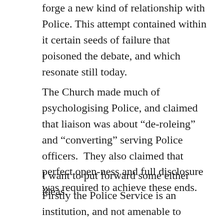forge a new kind of relationship with Police. This attempt contained within it certain seeds of failure that poisoned the debate, and which resonate still today.
The Church made much of psychologising Police, and claimed that liaison was about “de-roleing” and “converting” serving Police officers.  They also claimed that perfect open-ness and full disclosure was required to achieve these ends.
I want to put forward some either ideas.
Firstly the Police Service is an institution, and not amenable to individual psychological analysis.  It is the job of Police to protect the